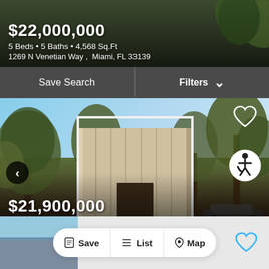$22,000,000
5 Beds • 5 Baths • 4,568 Sq.Ft
1269 N Venetian Way , Miami, FL 33139
Save Search
Filters
[Figure (photo): Modern luxury home with palm trees, architectural facade, blue sky background]
$21,900,000
6 Beds • 6 Baths • 7,283 Sq.Ft
1369 N Venetian Way , Miami, FL 33139
Save
List
Map